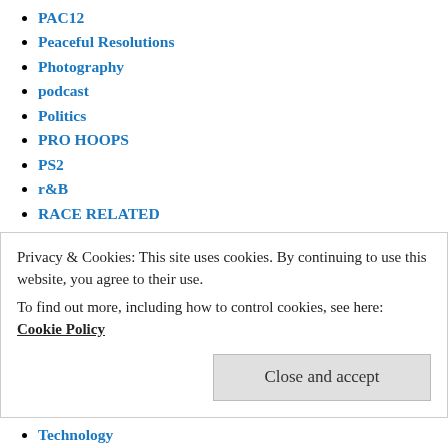PAC12
Peaceful Resolutions
Photography
podcast
Politics
PRO HOOPS
PS2
r&B
RACE RELATED
RACE RELATIONS
RACE/RELATIONS
Rap/Hip-Hop
Reality Television
Reviews
SDM Magazine Editorial
Short Films
SOCCER
Privacy & Cookies: This site uses cookies. By continuing to use this website, you agree to their use.
To find out more, including how to control cookies, see here: Cookie Policy
Technology